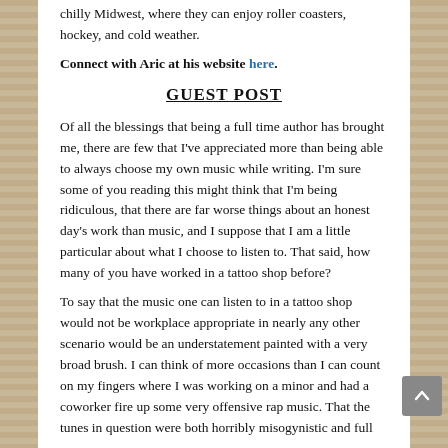chilly Midwest, where they can enjoy roller coasters, hockey, and cold weather.
Connect with Aric at his website here.
GUEST POST
Of all the blessings that being a full time author has brought me, there are few that I've appreciated more than being able to always choose my own music while writing. I'm sure some of you reading this might think that I'm being ridiculous, that there are far worse things about an honest day's work than music, and I suppose that I am a little particular about what I choose to listen to. That said, how many of you have worked in a tattoo shop before?
To say that the music one can listen to in a tattoo shop would not be workplace appropriate in nearly any other scenario would be an understatement painted with a very broad brush. I can think of more occasions than I can count on my fingers where I was working on a minor and had a coworker fire up some very offensive rap music. That the tunes in question were both horribly misogynistic and full